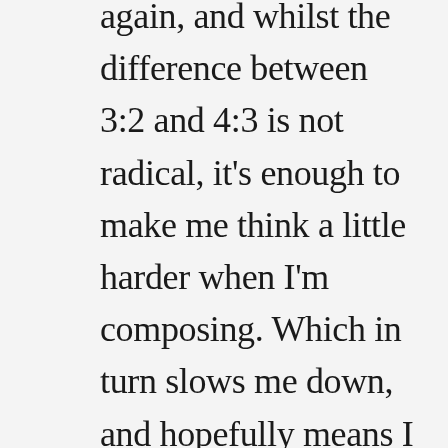again, and whilst the difference between 3:2 and 4:3 is not radical, it's enough to make me think a little harder when I'm composing. Which in turn slows me down, and hopefully means I take fewer photographs that end up being deleted.

Not that I'm averse to deleting photographs, I'm quite prolific at it, but I would like to improve...